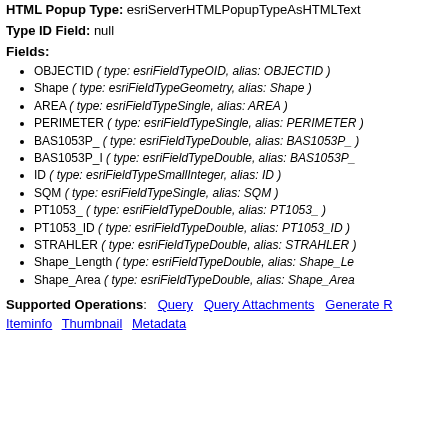HTML Popup Type: esriServerHTMLPopupTypeAsHTMLText
Type ID Field: null
Fields:
OBJECTID ( type: esriFieldTypeOID, alias: OBJECTID )
Shape ( type: esriFieldTypeGeometry, alias: Shape )
AREA ( type: esriFieldTypeSingle, alias: AREA )
PERIMETER ( type: esriFieldTypeSingle, alias: PERIMETER )
BAS1053P_ ( type: esriFieldTypeDouble, alias: BAS1053P_ )
BAS1053P_I ( type: esriFieldTypeDouble, alias: BAS1053P_ )
ID ( type: esriFieldTypeSmallInteger, alias: ID )
SQM ( type: esriFieldTypeSingle, alias: SQM )
PT1053_ ( type: esriFieldTypeDouble, alias: PT1053_ )
PT1053_ID ( type: esriFieldTypeDouble, alias: PT1053_ID )
STRAHLER ( type: esriFieldTypeDouble, alias: STRAHLER )
Shape_Length ( type: esriFieldTypeDouble, alias: Shape_Length )
Shape_Area ( type: esriFieldTypeDouble, alias: Shape_Area )
Supported Operations: Query  Query Attachments  Generate R
Iteminfo  Thumbnail  Metadata